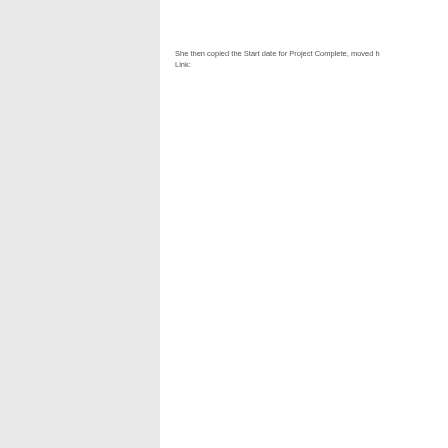She then copied the Start date for Project Complete, moved h Link: